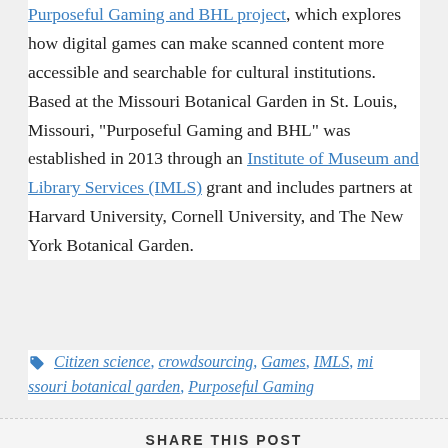Purposeful Gaming and BHL project, which explores how digital games can make scanned content more accessible and searchable for cultural institutions. Based at the Missouri Botanical Garden in St. Louis, Missouri, "Purposeful Gaming and BHL" was established in 2013 through an Institute of Museum and Library Services (IMLS) grant and includes partners at Harvard University, Cornell University, and The New York Botanical Garden.
Tags: Citizen science, crowdsourcing, Games, IMLS, missouri botanical garden, Purposeful Gaming
SHARE THIS POST